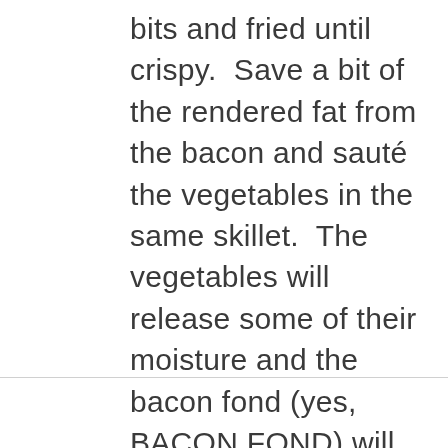bits and fried until crispy.  Save a bit of the rendered fat from the bacon and sauté the vegetables in the same skillet.  The vegetables will release some of their moisture and the bacon fond (yes, BACON FOND) will naturally be incorporated into the melange of vegetables. #doesntsuck.